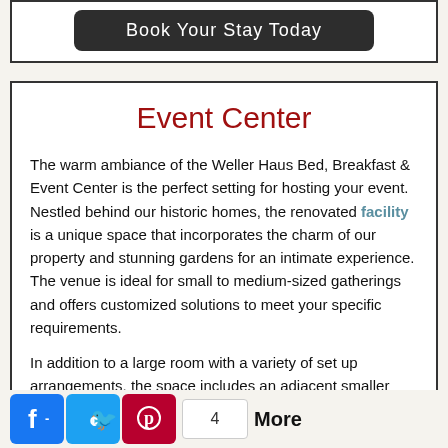[Figure (other): Dark rounded button labeled 'Book Your Stay Today']
Event Center
The warm ambiance of the Weller Haus Bed, Breakfast & Event Center is the perfect setting for hosting your event. Nestled behind our historic homes, the renovated facility is a unique space that incorporates the charm of our property and stunning gardens for an intimate experience. The venue is ideal for small to medium-sized gatherings and offers customized solutions to meet your specific requirements.
In addition to a large room with a variety of set up arrangements, the space includes an adjacent smaller room
[Figure (other): Social media sharing bar with Facebook, Twitter, Pinterest icons, a count box showing '4', and a 'More' label]